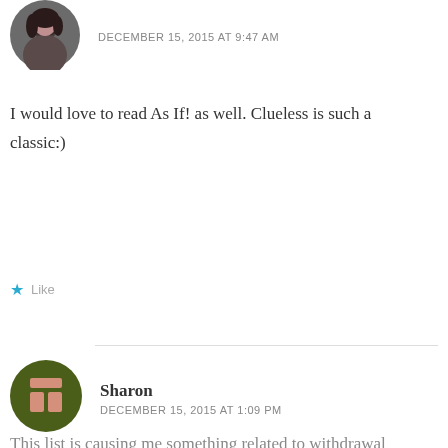[Figure (photo): Circular avatar photo of a person with dark hair]
DECEMBER 15, 2015 AT 9:47 AM
I would love to read As If! as well. Clueless is such a classic:)
Like
[Figure (illustration): Circular WordPress-style avatar icon with olive/green background and pink/salmon colored icon]
Sharon
DECEMBER 15, 2015 AT 1:09 PM
This list is causing me something related to withdrawal pains? Or maybe it's just the ache of a long list of books, most of which I am ALSO dying to read. Waaaaaaaant.
Read Ancillary Justice, Booklit…